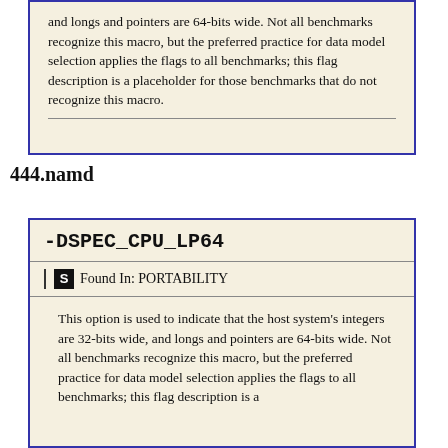and longs and pointers are 64-bits wide. Not all benchmarks recognize this macro, but the preferred practice for data model selection applies the flags to all benchmarks; this flag description is a placeholder for those benchmarks that do not recognize this macro.
444.namd
-DSPEC_CPU_LP64
S  Found In: PORTABILITY
This option is used to indicate that the host system's integers are 32-bits wide, and longs and pointers are 64-bits wide. Not all benchmarks recognize this macro, but the preferred practice for data model selection applies the flags to all benchmarks; this flag description is a placeholder for those benchmarks that do not recognize this macro.